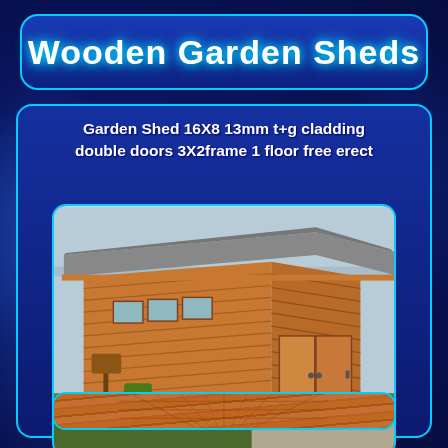Wooden Garden Sheds
Garden Shed 16X8 13mm t+g cladding double doors 3X2frame 1 floor free erect
[Figure (photo): Photo of a large wooden garden shed with double doors, horizontal t+g cladding, grey felt roof, windows on the side, set in a garden. eBay watermark visible.]
[Figure (photo): Close-up photo of wooden t+g cladding showing timber planks in detail.]